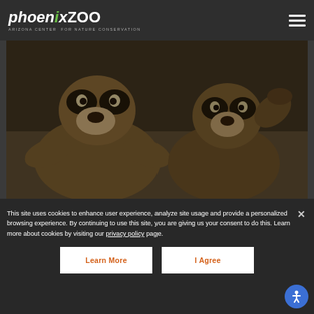Phoenix Zoo — Arizona Center for Nature Conservation
[Figure (photo): Close-up photo of two coatis or similar animals with black-and-white facial markings, brownish fur, in a dim enclosure]
This site uses cookies to enhance user experience, analyze site usage and provide a personalized browsing experience. By continuing to use this site, you are giving us your consent to do this. Learn more about cookies by visiting our privacy policy page.
Learn More
I Agree